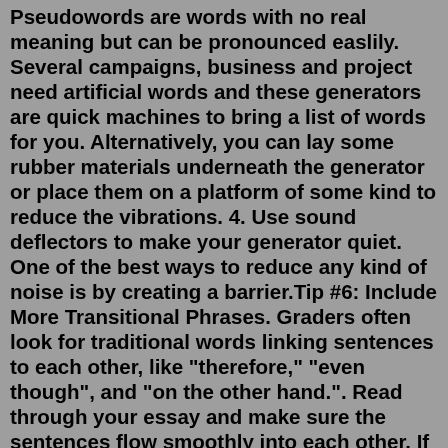Pseudowords are words with no real meaning but can be pronounced easlily. Several campaigns, business and project need artificial words and these generators are quick machines to bring a list of words for you. Alternatively, you can lay some rubber materials underneath the generator or place them on a platform of some kind to reduce the vibrations. 4. Use sound deflectors to make your generator quiet. One of the best ways to reduce any kind of noise is by creating a barrier.Tip #6: Include More Transitional Phrases. Graders often look for traditional words linking sentences to each other, like "therefore," "even though", and "on the other hand.". Read through your essay and make sure the sentences flow smoothly into each other. If they don't, go back and add in transitional phrases like the ones ...⚙ ꀔ I recently got a Briggs and Stratton generator. But how do you reduce generator sound? I show you how to build a generator shelter, or lightweight gener... With just a text prompt, Dall-E 2 can deliver original concept art and product design ideas in seconds. Legal Issues Brit